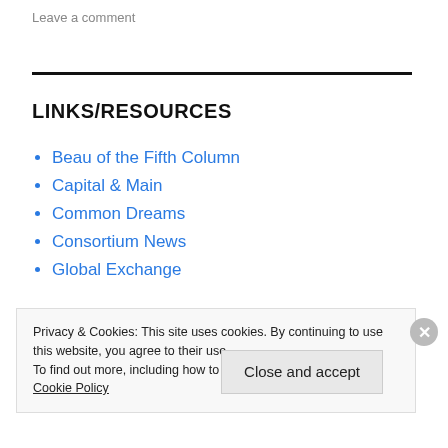Leave a comment
LINKS/RESOURCES
Beau of the Fifth Column
Capital & Main
Common Dreams
Consortium News
Global Exchange
Privacy & Cookies: This site uses cookies. By continuing to use this website, you agree to their use.
To find out more, including how to control cookies, see here:
Cookie Policy
Close and accept